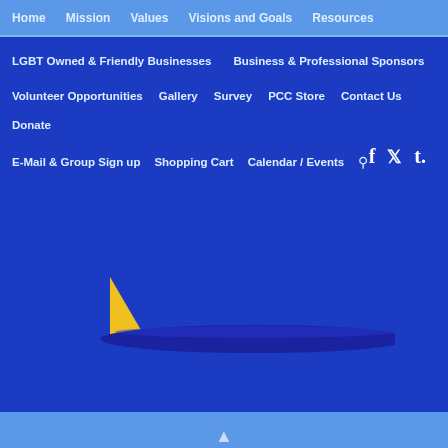Home   Mission   Values   Visions and Goals   Resources
LGBT Owned & Friendly Businesses
Business & Professional Sponsors
Volunteer Opportunities
Gallery
Survey
PCC Store
Contact Us
Donate
E-Mail & Group Sign up
Shopping Cart
Calendar / Events
[Figure (logo): Stylized sailboat logo with yellow sail and dark blue hull shape on blue background]